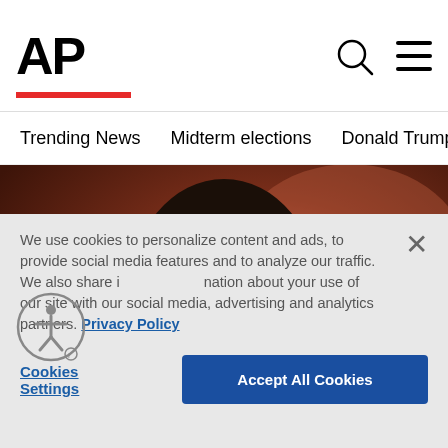AP
Trending News | Midterm elections | Donald Trump | Russia-Ukr
[Figure (photo): Portrait photo of a dark-haired woman in a white shirt, posed thoughtfully with hand near face, against a warm reddish-brown background.]
We use cookies to personalize content and ads, to provide social media features and to analyze our traffic. We also share information about your use of our site with our social media, advertising and analytics partners. Privacy Policy
Cookies Settings   Accept All Cookies